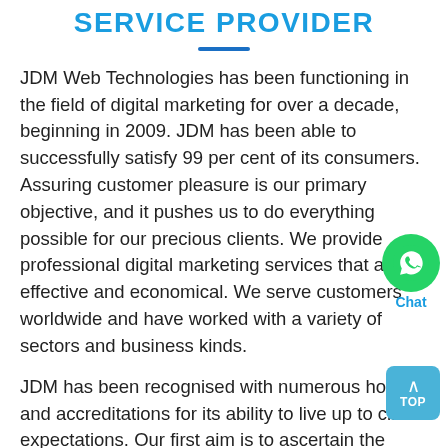SERVICE PROVIDER
JDM Web Technologies has been functioning in the field of digital marketing for over a decade, beginning in 2009. JDM has been able to successfully satisfy 99 per cent of its consumers. Assuring customer pleasure is our primary objective, and it pushes us to do everything possible for our precious clients. We provide professional digital marketing services that are effective and economical. We serve customers worldwide and have worked with a variety of sectors and business kinds.
JDM has been recognised with numerous honors and accreditations for its ability to live up to client expectations. Our first aim is to ascertain the client's